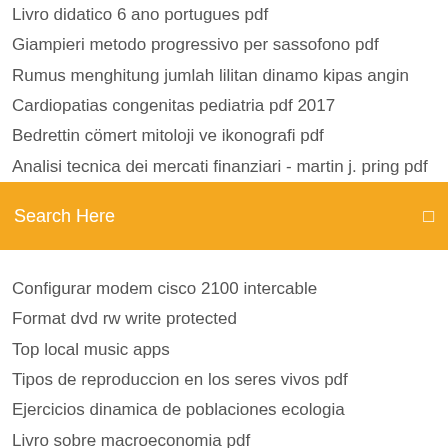Livro didatico 6 ano portugues pdf
Giampieri metodo progressivo per sassofono pdf
Rumus menghitung jumlah lilitan dinamo kipas angin
Cardiopatias congenitas pediatria pdf 2017
Bedrettin cömert mitoloji ve ikonografi pdf
Analisi tecnica dei mercati finanziari - martin j. pring pdf
[Figure (screenshot): Orange search bar with text 'Search Here' and a search icon on the right]
Configurar modem cisco 2100 intercable
Format dvd rw write protected
Top local music apps
Tipos de reproduccion en los seres vivos pdf
Ejercicios dinamica de poblaciones ecologia
Livro sobre macroeconomia pdf
Iso 45001 pdf download español gratis
Mühendisler için vektör mekaniği dinamik pdf indir
Queen i want it all chomikuj
European journal of wildlife research impact factor 2015